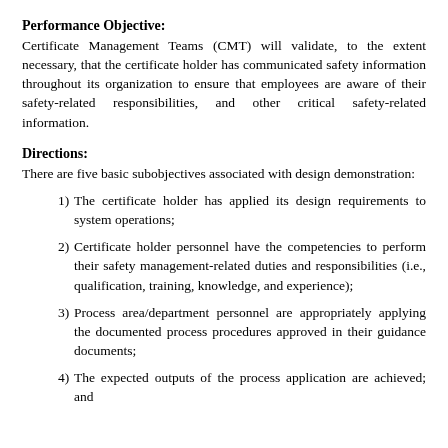Performance Objective:
Certificate Management Teams (CMT) will validate, to the extent necessary, that the certificate holder has communicated safety information throughout its organization to ensure that employees are aware of their safety-related responsibilities, and other critical safety-related information.
Directions:
There are five basic subobjectives associated with design demonstration:
1)  The certificate holder has applied its design requirements to system operations;
2)  Certificate holder personnel have the competencies to perform their safety management-related duties and responsibilities (i.e., qualification, training, knowledge, and experience);
3)  Process area/department personnel are appropriately applying the documented process procedures approved in their guidance documents;
4)  The expected outputs of the process application are achieved; and